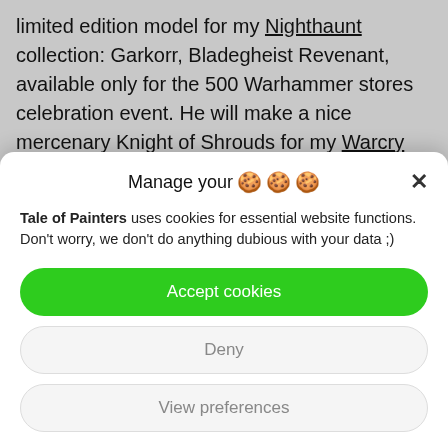limited edition model for my Nighthaunt collection: Garkorr, Bladegheist Revenant, available only for the 500 Warhammer stores celebration event. He will make a nice mercenary Knight of Shrouds for my Warcry warband. Check out more pictures after the jump, plus a complete list of all the paint recipes I used.
Manage your 🍪🍪🍪
Tale of Painters uses cookies for essential website functions. Don't worry, we don't do anything dubious with your data ;)
Accept cookies
Deny
View preferences